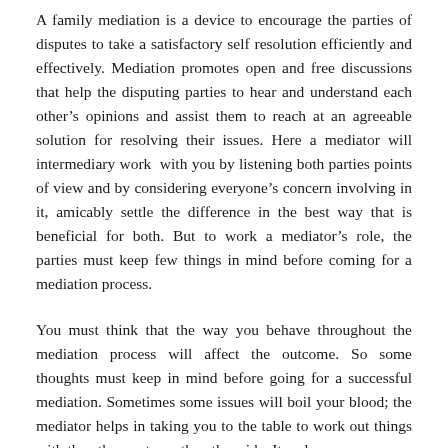A family mediation is a device to encourage the parties of disputes to take a satisfactory self resolution efficiently and effectively. Mediation promotes open and free discussions that help the disputing parties to hear and understand each other's opinions and assist them to reach at an agreeable solution for resolving their issues. Here a mediator will intermediary work  with you by listening both parties points of view and by considering everyone's concern involving in it, amicably settle the difference in the best way that is beneficial for both. But to work a mediator's role, the parties must keep few things in mind before coming for a mediation process.
You must think that the way you behave throughout the mediation process will affect the outcome. So some thoughts must keep in mind before going for a successful mediation. Sometimes some issues will boil your blood; the mediator helps in taking you to the table to work out things with the other party on the other side. It makes…